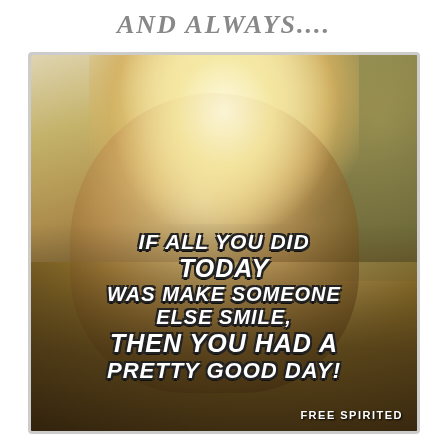AND ALWAYS....
[Figure (photo): A joyful young blonde girl with flowing hair laughing, appearing to be on a swing, with a warm golden background. Overlaid with inspirational quote text.]
IF ALL YOU DID TODAY WAS MAKE SOMEONE ELSE SMILE, THEN YOU HAD A PRETTY GOOD DAY!
FREE SPIRITED